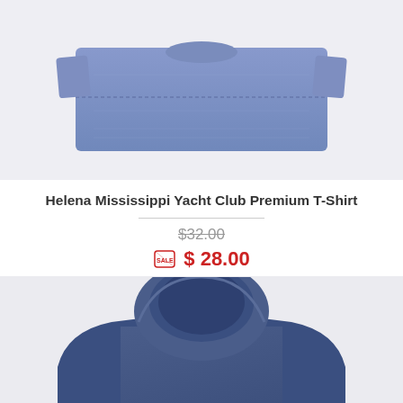[Figure (photo): A folded blue-gray premium T-shirt on a light gray background, top portion visible.]
Helena Mississippi Yacht Club Premium T-Shirt
$32.00 (original price, struck through)
$ 28.00 (sale price with sale tag icon)
[Figure (photo): Back view of a navy blue hoodie with 'HELENA' printed in large arched block letters with white outline, on a light gray background.]